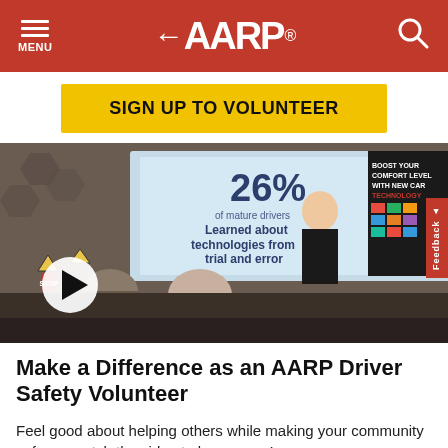MENU | AARP® | (search)
SIGN UP TO VOLUNTEER
[Figure (photo): A presenter speaking at the front of a room, with a projection screen showing '26% of mature drivers Learned about technologies from trial and error'. Audience members are seated watching. A banner reads 'BOOST YOUR COMFORT LEVEL WITH NEW CAR TECHNOLOGY'. A play button overlay is visible in the lower left.]
Make a Difference as an AARP Driver Safety Volunteer
Feel good about helping others while making your community safer — watch the video to learn more!